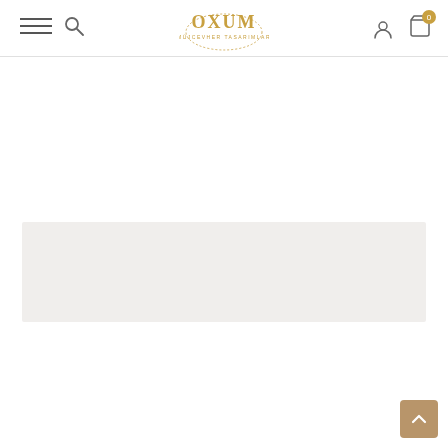OXUM - Website header with hamburger menu, search icon, logo, account icon, and cart (0 items)
[Figure (screenshot): Gray/beige placeholder banner box in the main content area]
[Figure (other): Scroll-to-top button (chevron up) in the bottom right corner]